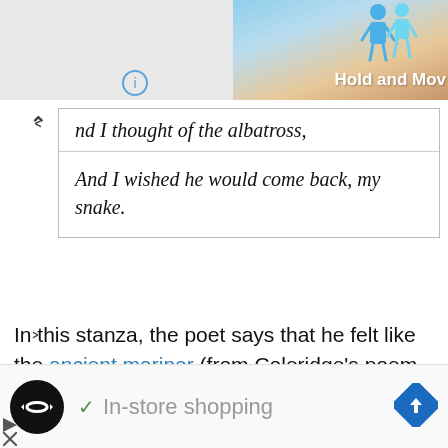[Figure (screenshot): Top banner area showing 'Hold and Mo[ve]' text with illustrated figures on a sandy/blue background, and an info icon circle]
nd I thought of the albatross,
And I wished he would come back, my snake.
In this stanza, the poet says that he felt like the ancient mariner (from Coleridge's poem of the same name) who had killed the albatross for no reason and he wished that the snake would come back to the trough once again.
[Figure (screenshot): Bottom advertisement bar showing a loop/infinity icon in black circle, checkmark with 'In-store shopping' text, and a blue navigation arrow diamond icon]